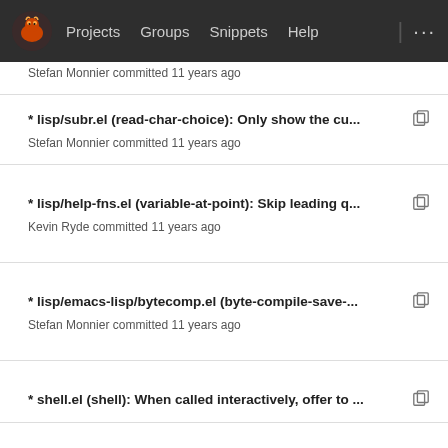Projects  Groups  Snippets  Help
* lisp/subr.el (read-char-choice): Only show the cu...
Stefan Monnier committed 11 years ago
* lisp/help-fns.el (variable-at-point): Skip leading q...
Kevin Ryde committed 11 years ago
* lisp/emacs-lisp/bytecomp.el (byte-compile-save-...
Stefan Monnier committed 11 years ago
* shell.el (shell): When called interactively, offer to ...